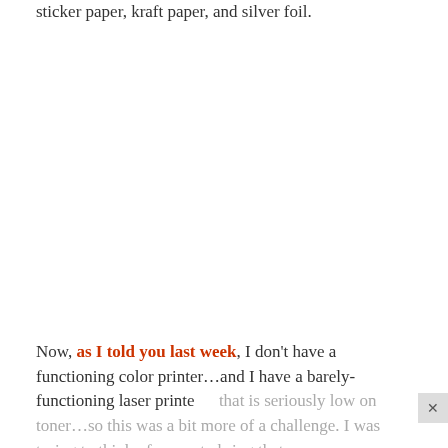tattoo paper. I decided to experiment with the white sticker paper, kraft paper, and silver foil.
Now, as I told you last week, I don't have a functioning color printer…and I have a barely-functioning laser printer that is seriously low on toner…so this was a bit more of a challenge. I was trying to think of a way to bring that